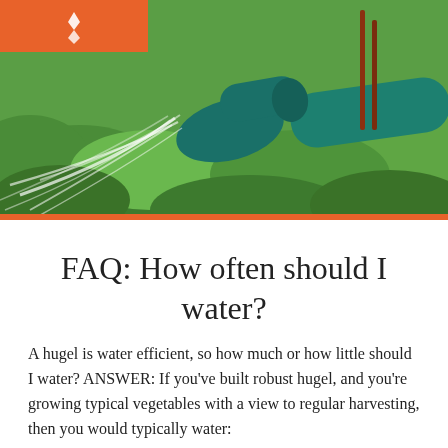[Figure (photo): Close-up photo of a green garden hose nozzle spraying water over green leafy vegetables in a garden bed. An orange decorative bar is visible in the top-left corner.]
FAQ: How often should I water?
A hugel is water efficient, so how much or how little should I water? ANSWER: If you've built robust hugel, and you're growing typical vegetables with a view to regular harvesting, then you would typically water: